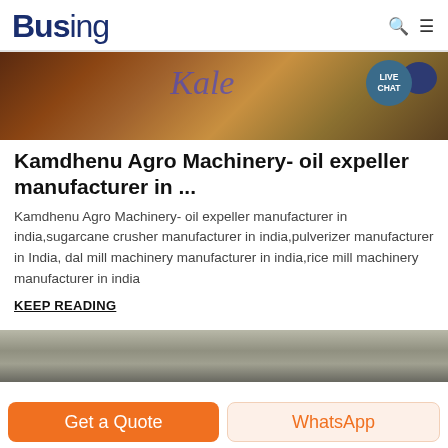Busing
[Figure (photo): Banner image showing industrial machinery with copper/brown metallic tones. Overlaid cursive text in blue/purple. Live Chat bubble in top right corner.]
Kamdhenu Agro Machinery- oil expeller manufacturer in ...
Kamdhenu Agro Machinery- oil expeller manufacturer in india,sugarcane crusher manufacturer in india,pulverizer manufacturer in India, dal mill machinery manufacturer in india,rice mill machinery manufacturer in india
KEEP READING
[Figure (photo): Second banner image showing stone or rock texture in grey/beige tones.]
Get a Quote
WhatsApp